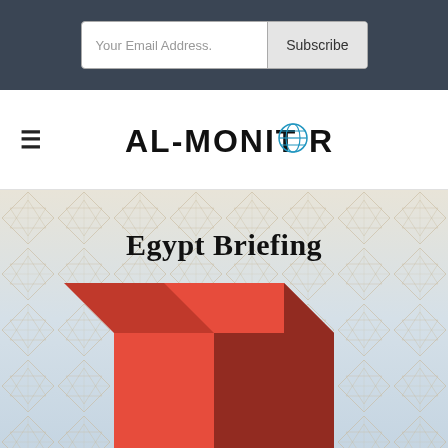Your Email Address.
Subscribe
[Figure (logo): AL-MONITOR logo with globe icon replacing the O in MONITOR]
Egypt Briefing
[Figure (illustration): 3D isometric red rectangular box on a light blue-gray background with tan/beige geometric diamond and triangle pattern overlay]